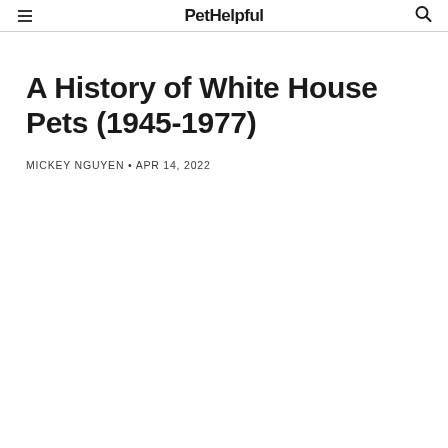PetHelpful
A History of White House Pets (1945-1977)
MICKEY NGUYEN • APR 14, 2022